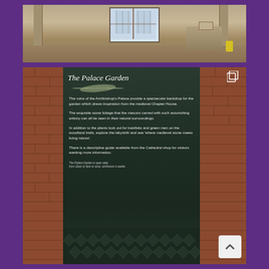[Figure (photo): Interior of a stone cathedral or church showing columns, a window with stained glass, stone floors, and what appears to be a recumbent tomb effigy or statue with a yellow object beside it.]
[Figure (photo): A dark green informational sign panel titled 'The Palace Garden' with an illustrated feather/leaf motif, set against a red brick wall background. The sign describes the Archbishop's Palace ruins and garden, mentioning medieval Chapter House, stone foliage carved by masons, basilisks and green men on woodland trails, a labyrinth, and a descriptive guide available from the Cathedral shop. Opening hours noted at bottom. A copy/share icon appears top right and a scroll-up button bottom right.]
The Palace Garden
The ruins of the Archbishop's Palace provide a spectacular backdrop for the garden which draws inspiration from the medieval Chapter House.
The exquisite stone foliage that the masons carved with such astonishing artistry can all be seen in their natural surroundings.
In addition to the plants look out for basilisks and green men on the woodland trails, explore the labyrinth and see 'where medieval stone meets living nature'.
There is a descriptive guide available from the Cathedral shop for visitors wanting more information.
The Palace Garden is open daily from 10am to 5pm or dusk, whichever is earlier.